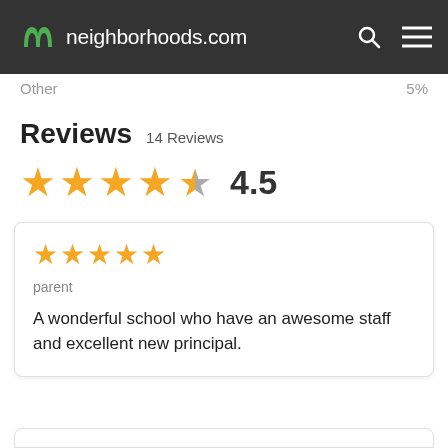neighborhoods.com
Other  5%
Reviews  14 Reviews
[Figure (other): Star rating display showing 4.5 out of 5 stars (4 filled gold stars, 1 half-filled/gray star) with numeric rating 4.5]
★★★★★ parent — A wonderful school who have an awesome staff and excellent new principal.